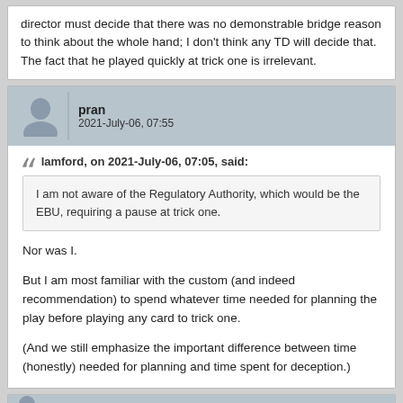director must decide that there was no demonstrable bridge reason to think about the whole hand; I don't think any TD will decide that. The fact that he played quickly at trick one is irrelevant.
pran
2021-July-06, 07:55
lamford, on 2021-July-06, 07:05, said:
I am not aware of the Regulatory Authority, which would be the EBU, requiring a pause at trick one.
Nor was I.

But I am most familiar with the custom (and indeed recommendation) to spend whatever time needed for planning the play before playing any card to trick one.

(And we still emphasize the important difference between time (honestly) needed for planning and time spent for deception.)